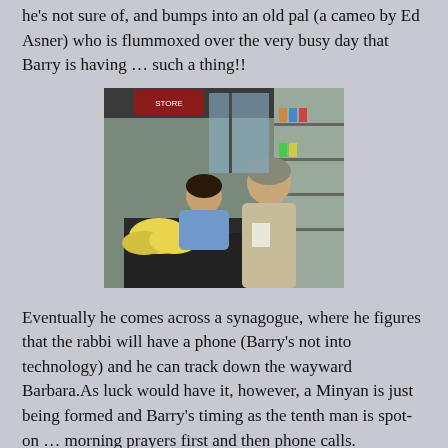he's not sure of, and bumps into an old pal (a cameo by Ed Asner) who is flummoxed over the very busy day that Barry is having … such a thing!!
[Figure (photo): Two people at a convenience store counter. One person leans over the counter, the other stands on the customer side. Bananas and store shelves visible in background.]
Eventually he comes across a synagogue, where he figures that the rabbi will have a phone (Barry's not into technology) and he can track down the wayward Barbara.As luck would have it, however, a Minyan is just being formed and Barry's timing as the tenth man is spot-on … morning prayers first and then phone calls.
We are just getting warmed up.   Barry will nearly go mad over being stuck in a Minyan and begins to have surreal flashbacks (filmmaker Michael Skolnick began his career with animated short films — The Elephant in the Room and The Mean S